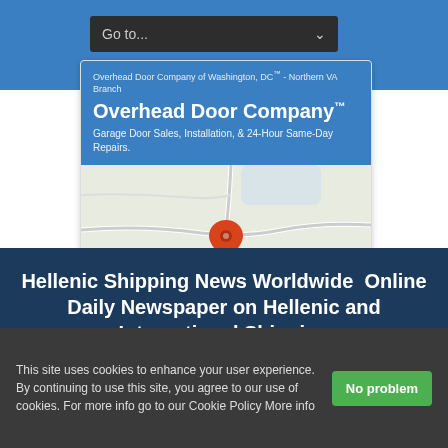Go to...
Overhead Door Company of Washington, DC™ - Northern VA Branch
Overhead Door Company™
Garage Door Sales, Installation, & 24-Hour Same-Day Repairs.
[Figure (map): Google Maps view with a red location pin marker]
Store info
Directions
Hellenic Shipping News Worldwide Online Daily Newspaper on Hellenic and International Shipping
This site uses cookies to enhance your user experience. By continuing to use this site, you agree to our use of cookies. For more info go to our Cookie Policy More info
No problem